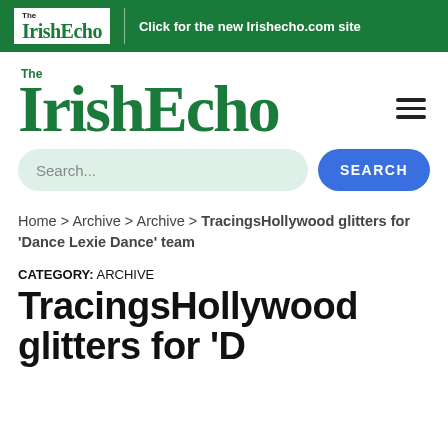The IrishEcho | Click for the new Irishecho.com site
[Figure (logo): The IrishEcho large green logo with hamburger menu icon]
Search...  SEARCH
Home > Archive > Archive > TracingsHollywood glitters for 'Dance Lexie Dance' team
CATEGORY:  ARCHIVE
TracingsHollywood glitters for 'D...